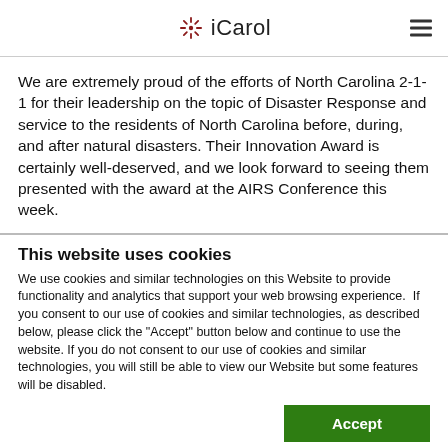iCarol
We are extremely proud of the efforts of North Carolina 2-1-1 for their leadership on the topic of Disaster Response and service to the residents of North Carolina before, during, and after natural disasters. Their Innovation Award is certainly well-deserved, and we look forward to seeing them presented with the award at the AIRS Conference this week.
This website uses cookies
We use cookies and similar technologies on this Website to provide functionality and analytics that support your web browsing experience.  If you consent to our use of cookies and similar technologies, as described below, please click the "Accept" button below and continue to use the website. If you do not consent to our use of cookies and similar technologies, you will still be able to view our Website but some features will be disabled.